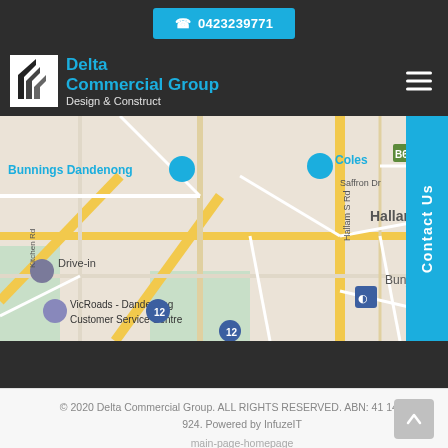0423239771
Delta Commercial Group
Design & Construct
[Figure (map): Google Maps screenshot showing Hallam area in Dandenong, Victoria, Australia. Landmarks visible include Bunnings Dandenong, Coles, VicRoads - Dandenong Customer Service Centre, road B675, Hallam S Rd, Kitchen Rd, Saffron Dr, and suburb label Bunjil. Route 12 visible.]
© 2020 Delta Commercial Group. ALL RIGHTS RESERVED. ABN: 41 148 935 924. Powered by InfuzeIT
main-page-homepage